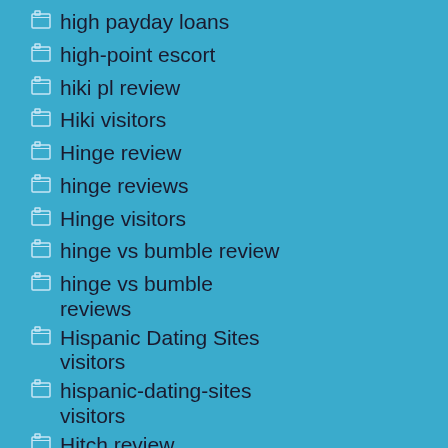high payday loans
high-point escort
hiki pl review
Hiki visitors
Hinge review
hinge reviews
Hinge visitors
hinge vs bumble review
hinge vs bumble reviews
Hispanic Dating Sites visitors
hispanic-dating-sites visitors
Hitch review
hitch reviews
Hitch visitors
Hitwe review